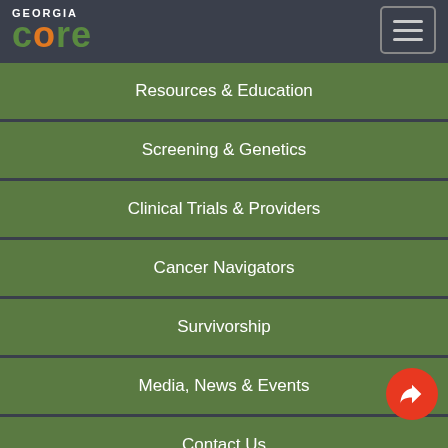[Figure (logo): Georgia CORE logo with 'GEORGIA' in white text above 'core' in green with orange 'o']
Resources & Education
Screening & Genetics
Clinical Trials & Providers
Cancer Navigators
Survivorship
Media, News & Events
Contact Us
Donate
Take Our Survey